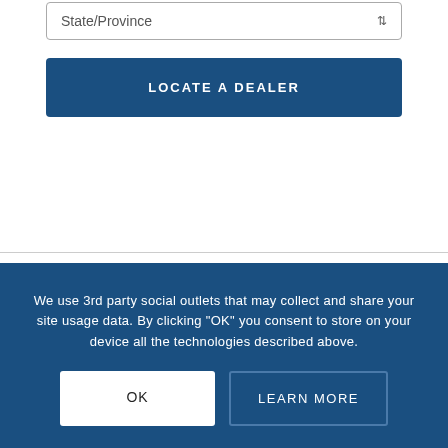[Figure (screenshot): Dropdown selector box labeled 'State/Province' with a sort arrow icon on the right]
[Figure (screenshot): Dark blue button labeled 'LOCATE A DEALER' in bold uppercase white text]
We use 3rd party social outlets that may collect and share your site usage data. By clicking “OK” you consent to store on your device all the technologies described above.
[Figure (screenshot): Two buttons: white 'OK' button and outlined 'LEARN MORE' button on dark blue background]